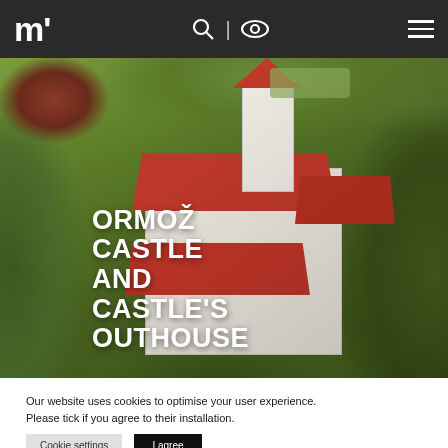m' logo with search, eye icons and hamburger menu
[Figure (photo): Aerial photograph of Ormož Castle showing red-roofed white castle buildings surrounded by trees, viewed from above at an angle.]
ORMOŽ CASTLE AND CASTLE'S OUTHOUSE
Our website uses cookies to optimise your user experience. Please tick if you agree to their installation.
Cookie settings  I agree